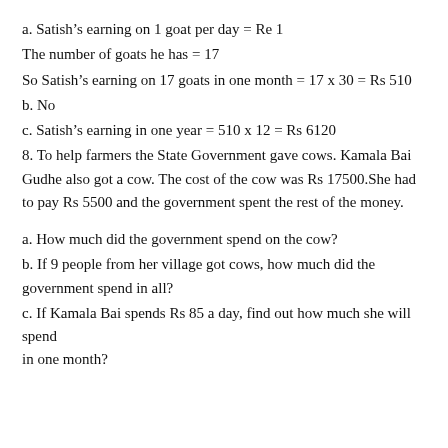a. Satish's earning on 1 goat per day = Re 1
The number of goats he has = 17
So Satish's earning on 17 goats in one month = 17 x 30 = Rs 510
b. No
c. Satish's earning in one year = 510 x 12 = Rs 6120
8. To help farmers the State Government gave cows. Kamala Bai Gudhe also got a cow. The cost of the cow was Rs 17500.She had to pay Rs 5500 and the government spent the rest of the money.
a. How much did the government spend on the cow?
b. If 9 people from her village got cows, how much did the government spend in all?
c. If Kamala Bai spends Rs 85 a day, find out how much she will spend in one month?